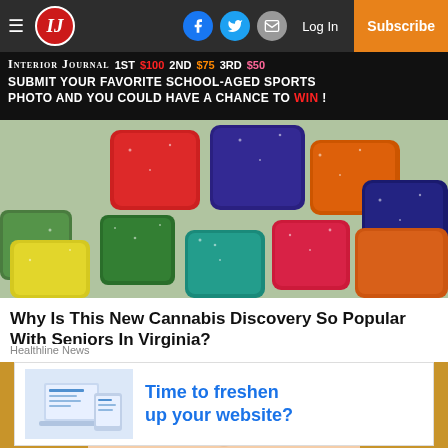Interior Journal — Navigation bar with logo, social icons, Log In, Subscribe
[Figure (photo): Advertisement banner: Interior Journal — 1ST $100, 2ND $75, 3RD $50 — Submit your favorite school-aged sports photo and you could have a chance to WIN!]
[Figure (photo): Colorful sugar-coated gummy candy pieces in red, blue, green, yellow, orange, purple on a flat surface]
Why Is This New Cannabis Discovery So Popular With Seniors In Virginia?
Healthline News
[Figure (photo): Close-up photo of a blonde woman's face, eyes and forehead visible]
[Figure (photo): Advertisement: Time to freshen up your website? with laptop/tablet illustration]